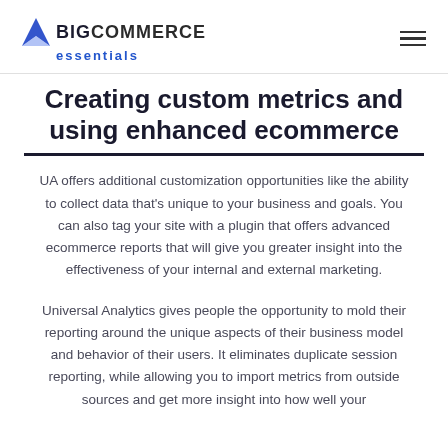BigCommerce essentials
Creating custom metrics and using enhanced ecommerce
UA offers additional customization opportunities like the ability to collect data that's unique to your business and goals. You can also tag your site with a plugin that offers advanced ecommerce reports that will give you greater insight into the effectiveness of your internal and external marketing.
Universal Analytics gives people the opportunity to mold their reporting around the unique aspects of their business model and behavior of their users. It eliminates duplicate session reporting, while allowing you to import metrics from outside sources and get more insight into how well your